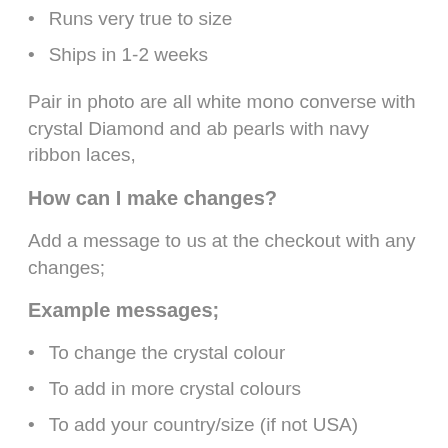Runs very true to size
Ships in 1-2 weeks
Pair in photo are all white mono converse with crystal Diamond and ab pearls with navy ribbon laces,
How can I make changes?
Add a message to us at the checkout with any changes;
Example messages;
To change the crystal colour
To add in more crystal colours
To add your country/size (if not USA)